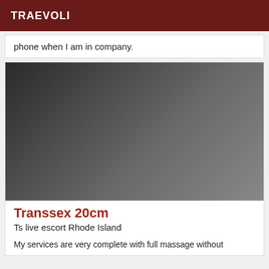TRAEVOLI
phone when I am in company.
[Figure (photo): A person wearing black lingerie reclining on a dark surface]
Transsex 20cm
Ts live escort Rhode Island
My services are very complete with full massage without